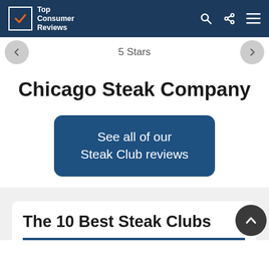Top Consumer Reviews
5 Stars
Chicago Steak Company
See all of our Steak Club reviews
The 10 Best Steak Clubs